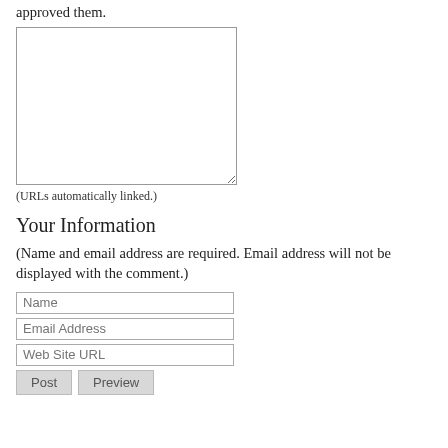approved them.
[Figure (other): Large empty comment textarea input box]
(URLs automatically linked.)
Your Information
(Name and email address are required. Email address will not be displayed with the comment.)
[Figure (other): Name input field with placeholder 'Name']
[Figure (other): Email Address input field with placeholder 'Email Address']
[Figure (other): Web Site URL input field with placeholder 'Web Site URL']
[Figure (other): Post and Preview buttons]